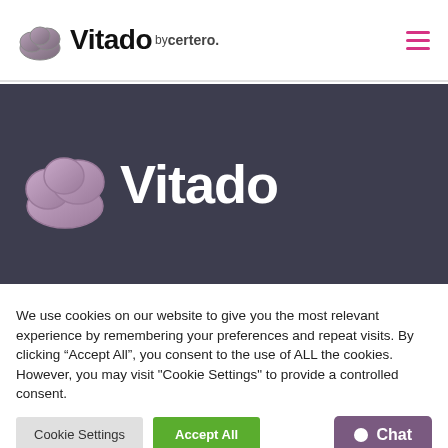[Figure (logo): Vitado by certero. logo with cloud icon on white header bar with hamburger menu icon on the right]
[Figure (logo): Dark banner with cloud icon and large white bold text 'Vitado']
We use cookies on our website to give you the most relevant experience by remembering your preferences and repeat visits. By clicking “Accept All”, you consent to the use of ALL the cookies. However, you may visit "Cookie Settings" to provide a controlled consent.
Cookie Settings  Accept All  Chat